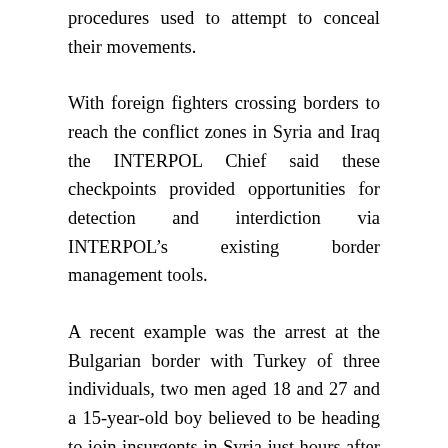procedures used to attempt to conceal their movements.
With foreign fighters crossing borders to reach the conflict zones in Syria and Iraq the INTERPOL Chief said these checkpoints provided opportunities for detection and interdiction via INTERPOL's existing border management tools.
A recent example was the arrest at the Bulgarian border with Turkey of three individuals, two men aged 18 and 27 and a 15-year-old boy believed to be heading to join insurgents in Syria just hours after Spain issued an alert via INTERPOL.
In bilateral discussions with Ministers at the meeting, the systematic use of INTERPOL's tools for border screening was also highlighted by Secretary General